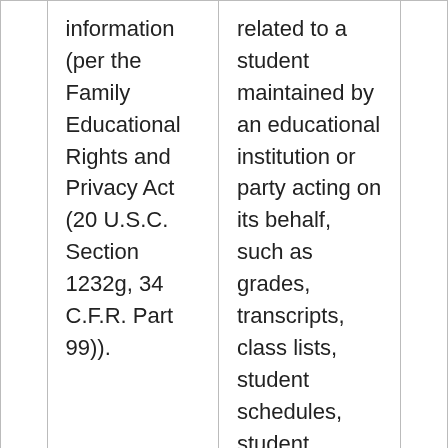| information (per the Family Educational Rights and Privacy Act (20 U.S.C. Section 1232g, 34 C.F.R. Part 99)). | related to a student maintained by an educational institution or party acting on its behalf, such as grades, transcripts, class lists, student schedules, student identification codes, student financial information, or student disciplinary |